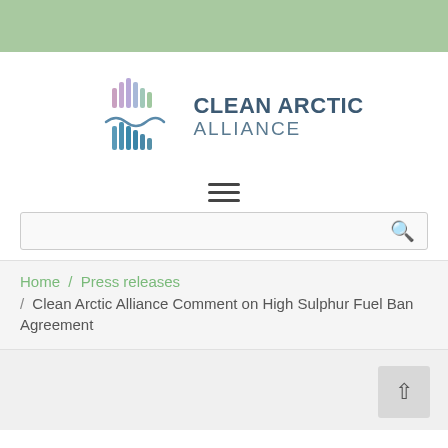[Figure (logo): Clean Arctic Alliance logo with colorful vertical bar chart-like graphic on the left and the text CLEAN ARCTIC ALLIANCE on the right]
[Figure (other): Hamburger menu icon with three horizontal lines]
[Figure (other): Search bar with magnifying glass icon]
Home / Press releases / Clean Arctic Alliance Comment on High Sulphur Fuel Ban Agreement